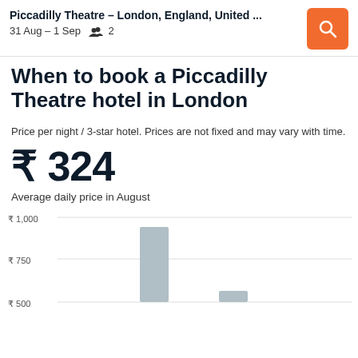Piccadilly Theatre – London, England, United ... 31 Aug – 1 Sep  2
When to book a Piccadilly Theatre hotel in London
Price per night / 3-star hotel. Prices are not fixed and may vary with time.
₹ 324
Average daily price in August
[Figure (bar-chart): Bar chart showing hotel prices over months. Visible bars include one tall bar around ₹750-800 and one shorter bar around ₹500. Y-axis shows ₹500, ₹750, ₹1,000.]